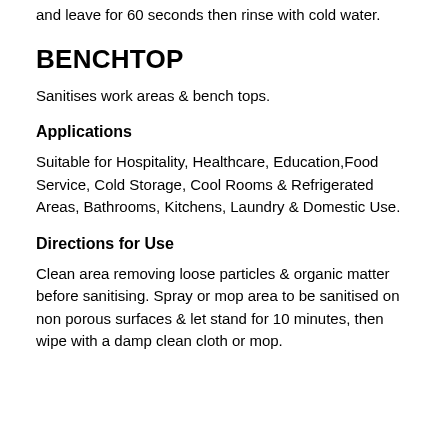and leave for 60 seconds then rinse with cold water.
BENCHTOP
Sanitises work areas & bench tops.
Applications
Suitable for Hospitality, Healthcare, Education,Food Service, Cold Storage, Cool Rooms & Refrigerated Areas, Bathrooms, Kitchens, Laundry & Domestic Use.
Directions for Use
Clean area removing loose particles & organic matter before sanitising. Spray or mop area to be sanitised on non porous surfaces & let stand for 10 minutes, then wipe with a damp clean cloth or mop.